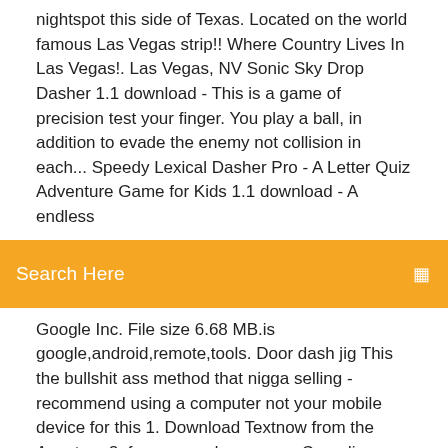nightspot this side of Texas. Located on the world famous Las Vegas strip!! Where Country Lives In Las Vegas!. Las Vegas, NV Sonic Sky Drop Dasher 1.1 download - This is a game of precision test your finger. You play a ball, in addition to evade the enemy not collision in each... Speedy Lexical Dasher Pro - A Letter Quiz Adventure Game for Kids 1.1 download - A endless
Search Here
Google Inc. File size 6.68 MB.is google,android,remote,tools. Door dash jig This the bullshit ass method that nigga selling - recommend using a computer not your mobile device for this 1. Download Textnow from the Appstore 2. for area code, use any Canadian area code (other countries will probably work...
Oct 27, 2018 Link to download: https://www.doordash.com/dasher/app/ Thank you! Follow me Facebook - https://www.facebook.com/techmauta Instagram Nov 10, 2018 BE YOUR OWN BOSSDash when you want and